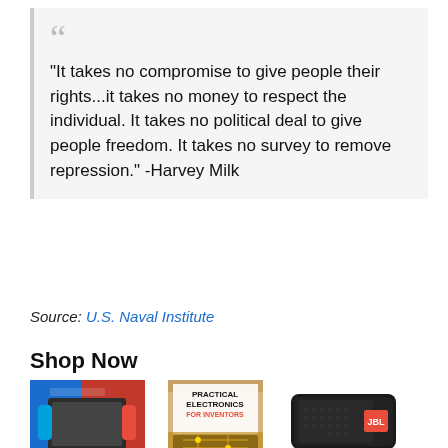“It takes no compromise to give people their rights...it takes no money to respect the individual. It takes no political deal to give people freedom. It takes no survey to remove repression.” -Harvey Milk
Source: U.S. Naval Institute
Shop Now
[Figure (photo): Nintendo Switch console box with neon blue and red Joy-Con controllers]
Nintendo Switch with Neon Blue and N
[Figure (photo): Book cover: Practical Electronics for Inventors, Fourth edition]
Practical Electronics for Inventors, Fourth
[Figure (photo): JBL FLIP 5 waterproof portable Bluetooth speaker in black]
JBL FLIP 5, Waterproof Portable